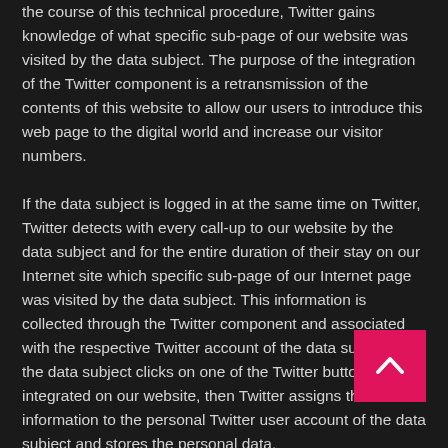the course of this technical procedure, Twitter gains knowledge of what specific sub-page of our website was visited by the data subject. The purpose of the integration of the Twitter component is a retransmission of the contents of this website to allow our users to introduce this web page to the digital world and increase our visitor numbers.
If the data subject is logged in at the same time on Twitter, Twitter detects with every call-up to our website by the data subject and for the entire duration of their stay on our Internet site which specific sub-page of our Internet page was visited by the data subject. This information is collected through the Twitter component and associated with the respective Twitter account of the data subject. If the data subject clicks on one of the Twitter buttons integrated on our website, then Twitter assigns this information to the personal Twitter user account of the data subject and stores the personal data.
Twitter receives information via the Twitter component that